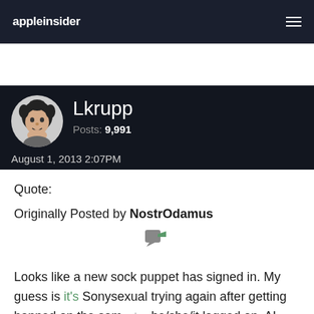appleinsider
Lkrupp
Posts: 9,991
August 1, 2013 2:07PM
Quote:

Originally Posted by NostrOdamus

Looks like a new sock puppet has signed in. My guess is it's Sonysexual trying again after getting banned on the same day he/she/it logged on. AI management, take care of this now